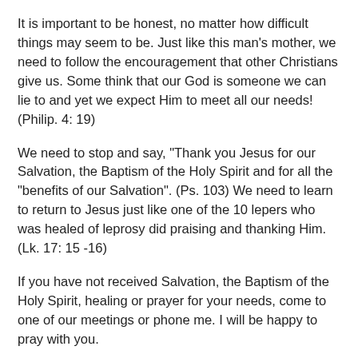It is important to be honest, no matter how difficult things may seem to be. Just like this man's mother, we need to follow the encouragement that other Christians give us. Some think that our God is someone we can lie to and yet we expect Him to meet all our needs! (Philip. 4: 19)
We need to stop and say, "Thank you Jesus for our Salvation, the Baptism of the Holy Spirit and for all the "benefits of our Salvation". (Ps. 103) We need to learn to return to Jesus just like one of the 10 lepers who was healed of leprosy did praising and thanking Him. (Lk. 17: 15 -16)
If you have not received Salvation, the Baptism of the Holy Spirit, healing or prayer for your needs, come to one of our meetings or phone me. I will be happy to pray with you.
Yours in Jesus,
Rev. Gordon Williams